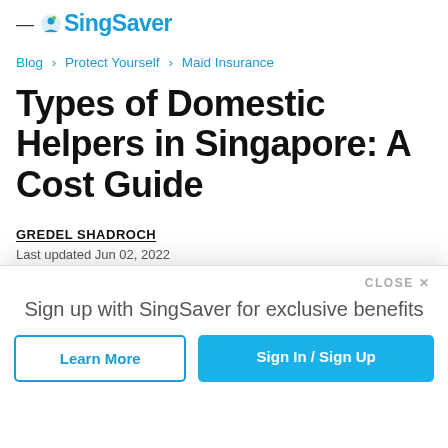SingSaver
Blog › Protect Yourself › Maid Insurance
Types of Domestic Helpers in Singapore: A Cost Guide
GREDEL SHADROCH
Last updated Jun 02, 2022
Sign up with SingSaver for exclusive benefits
Learn More
Sign In / Sign Up
pair of hands for your home's